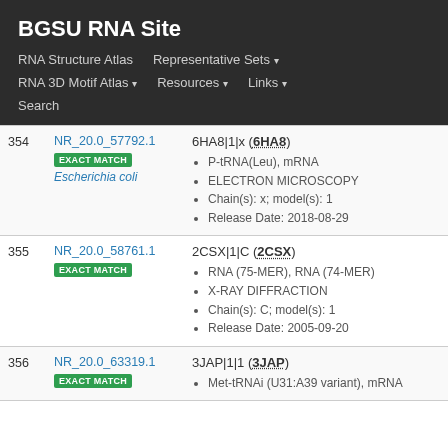BGSU RNA Site
RNA Structure Atlas | Representative Sets ▾ | RNA 3D Motif Atlas ▾ | Resources ▾ | Links ▾ | Search
| # | ID | Details |
| --- | --- | --- |
| 354 | NR_20.0_57792.1 EXACT MATCH Escherichia coli | 6HA8|1|x (6HA8) • P-tRNA(Leu), mRNA • ELECTRON MICROSCOPY • Chain(s): x; model(s): 1 • Release Date: 2018-08-29 |
| 355 | NR_20.0_58761.1 EXACT MATCH | 2CSX|1|C (2CSX) • RNA (75-MER), RNA (74-MER) • X-RAY DIFFRACTION • Chain(s): C; model(s): 1 • Release Date: 2005-09-20 |
| 356 | NR_20.0_63319.1 EXACT MATCH | 3JAP|1|1 (3JAP) • Met-tRNAi (U31:A39 variant), mRNA |